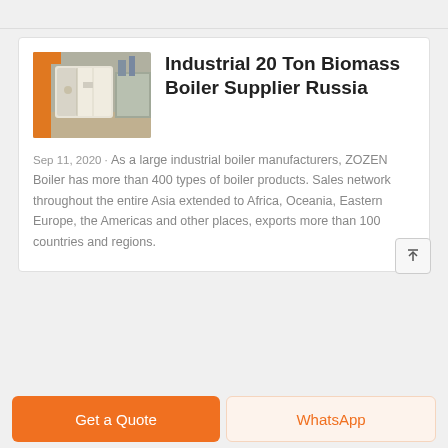[Figure (photo): Industrial boiler equipment in a factory setting with orange machinery frame and white/silver cylindrical boiler unit]
Industrial 20 Ton Biomass Boiler Supplier Russia
Sep 11, 2020 · As a large industrial boiler manufacturers, ZOZEN Boiler has more than 400 types of boiler products. Sales network throughout the entire Asia extended to Africa, Oceania, Eastern Europe, the Americas and other places, exports more than 100 countries and regions.
Get a Quote
WhatsApp